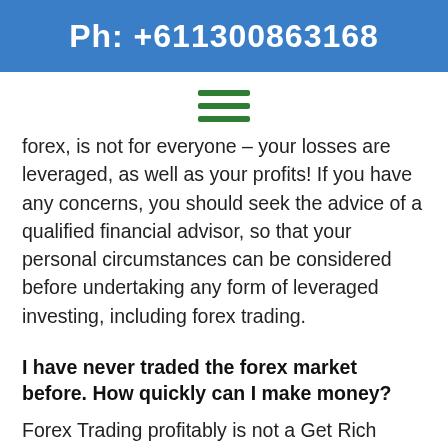Ph: +611300863168
[Figure (other): Hamburger menu icon with three green horizontal lines]
forex, is not for everyone – your losses are leveraged, as well as your profits! If you have any concerns, you should seek the advice of a qualified financial advisor, so that your personal circumstances can be considered before undertaking any form of leveraged investing, including forex trading.
I have never traded the forex market before. How quickly can I make money?
Forex Trading profitably is not a Get Rich Quick